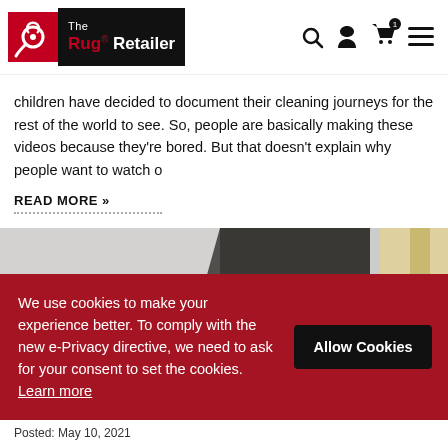The Rug Retailer
children have decided to document their cleaning journeys for the rest of the world to see. So, people are basically making these videos because they're bored. But that doesn't explain why people want to watch o
READ MORE »
[Figure (photo): Partial photo showing a rug or floor with a dark decorative object on the left side and light colored objects on the right]
We use cookies to make your experience better. To comply with the new e-Privacy directive, we need to ask for your consent to set the cookies. Learn more
Allow Cookies
Posted: May 10, 2021